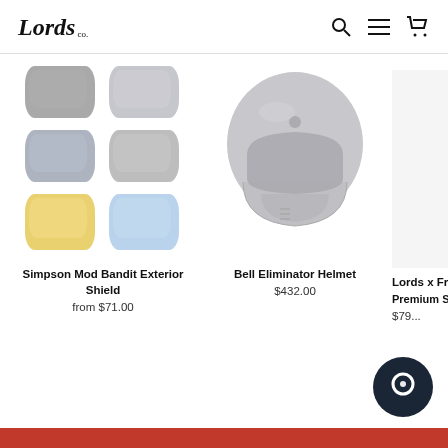Lords - navigation header with logo and icons
[Figure (photo): Simpson Mod Bandit Exterior Shield - 6 goggle lenses in pairs: dark silver, medium silver, light blue-gray, medium gray, yellow, light blue]
Simpson Mod Bandit Exterior Shield
from $71.00
[Figure (photo): Bell Eliminator Helmet - gray full-face motorcycle helmet shown at angle, light gray / muted presentation]
Bell Eliminator Helmet
$432.00
Lords x Freedom Premium Swea...
$79...
Red footer bar